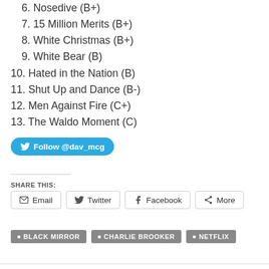6. Nosedive (B+)
7. 15 Million Merits (B+)
8. White Christmas (B+)
9. White Bear (B)
10. Hated in the Nation (B)
11. Shut Up and Dance (B-)
12. Men Against Fire (C+)
13. The Waldo Moment (C)
Follow @dav_mcg
SHARE THIS:
Email  Twitter  Facebook  More
BLACK MIRROR  CHARLIE BROOKER  NETFLIX